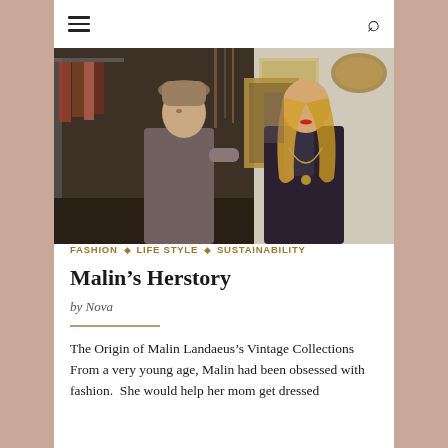Navigation menu and search icons
[Figure (photo): Two women standing in a vintage clothing shop. One wears a knitted hat and gray top, the other has long blonde hair and wears a dark jacket with a long necklace. The shop has racks of clothing, boots, and accessories in the background.]
FASHION ◇ LIFE STYLE ◇ SUSTAINABILITY
Malin's Herstory
by Nova
The Origin of Malin Landaeus's Vintage Collections From a very young age, Malin had been obsessed with fashion.  She would help her mom get dressed